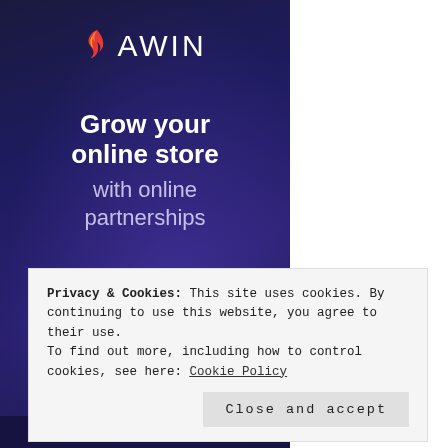[Figure (screenshot): Awin affiliate marketing website banner with dark blue/purple background showing 'Grow your online store with online partnerships' text and logo, with a checkmark icon and 'Free to join' footer. A cookie consent dialog overlays the bottom portion.]
Privacy & Cookies: This site uses cookies. By continuing to use this website, you agree to their use.
To find out more, including how to control cookies, see here: Cookie Policy
Close and accept